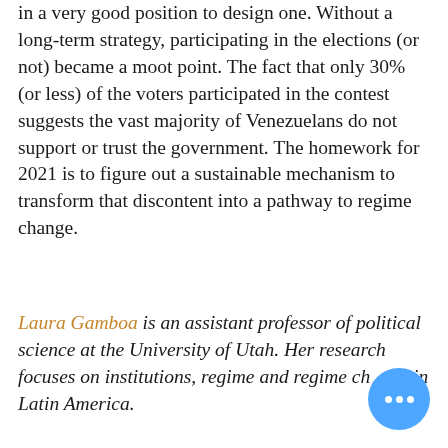in a very good position to design one. Without a long-term strategy, participating in the elections (or not) became a moot point. The fact that only 30% (or less) of the voters participated in the contest suggests the vast majority of Venezuelans do not support or trust the government. The homework for 2021 is to figure out a sustainable mechanism to transform that discontent into a pathway to regime change.
Laura Gamboa is an assistant professor of political science at the University of Utah. Her research focuses on institutions, regime and regime change in Latin America.